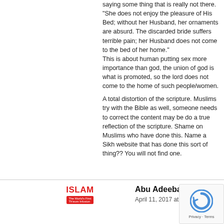saying some thing that is really not there.
“She does not enjoy the pleasure of His Bed; without her Husband, her ornaments are absurd. The discarded bride suffers terrible pain; her Husband does not come to the bed of her home.”
This is about human putting sex more importance than god, the union of god is what is promoted, so the lord does not come to the home of such people/women.

A total distortion of the scripture. Muslims try with the Bible as well, someone needs to correct the content may be do a true reflection of the scripture. Shame on Muslims who have done this. Name a Sikh website that has done this sort of thing?? You will not find one.
ISLAM   Abu Adeeba
April 11, 2017 at 4:22 pm